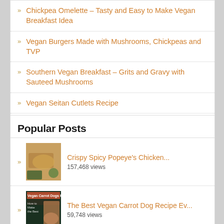Product Review: Joe's Oat Patties Vegan Burger Mix
Chickpea Omelette – Tasty and Easy to Make Vegan Breakfast Idea
Vegan Burgers Made with Mushrooms, Chickpeas and TVP
Southern Vegan Breakfast – Grits and Gravy with Sauteed Mushrooms
Vegan Seitan Cutlets Recipe
Last Minute Soul Food Vegan Thanksgiving Recipes
Popular Posts
Crispy Spicy Popeye's Chicken... 157,468 views
The Best Vegan Carrot Dog Recipe Ev... 59,748 views